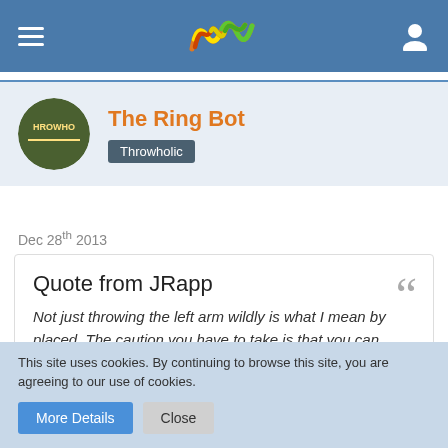[Figure (screenshot): App navigation bar with hamburger menu, logo (colorful wave/W shape), and user icon on blue background]
The Ring Bot
Throwholic
Dec 28th 2013
Quote from JRapp
Not just throwing the left arm wildly is what I mean by placed. The caution you have to take is that you can over-block with the left arm. You sweep the left wide and then bring it in. Most throwers will try to rip the left back and away from the throw, especially if you tell them to actively pull it. If it helps to
This site uses cookies. By continuing to browse this site, you are agreeing to our use of cookies.